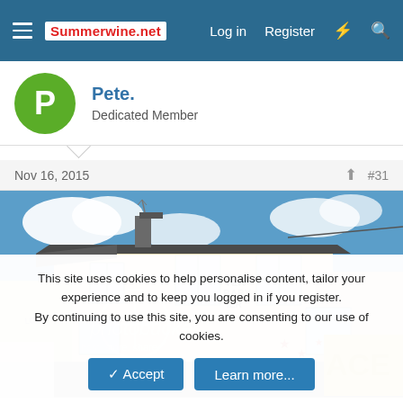Summerwine.net — Log in  Register
Pete.
Dedicated Member
Nov 16, 2015   #31
[Figure (photo): Photograph of a derelict two-storey pub or building with cream/yellow rendered walls, graffiti including 'YER BABY IER', a Photobucket watermark overlay, blue sky with clouds in the background, and colourful graffiti on lower walls.]
This site uses cookies to help personalise content, tailor your experience and to keep you logged in if you register.
By continuing to use this site, you are consenting to our use of cookies.
✓ Accept   Learn more...